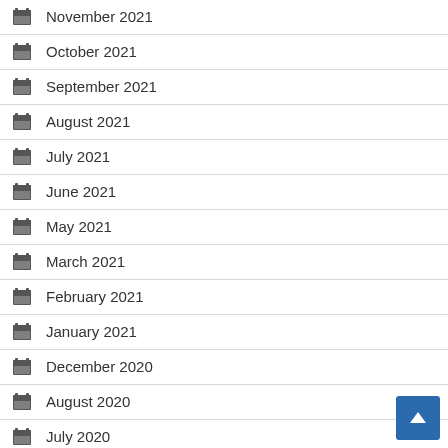November 2021
October 2021
September 2021
August 2021
July 2021
June 2021
May 2021
March 2021
February 2021
January 2021
December 2020
August 2020
July 2020